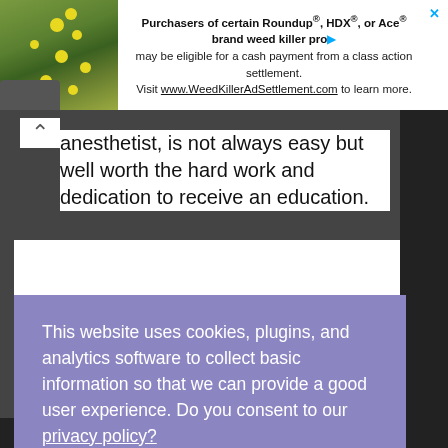[Figure (photo): Green plant with yellow flowers in top-left corner of ad banner]
Purchasers of certain Roundup®, HDX®, or Ace® brand weed killer products may be eligible for a cash payment from a class action settlement. Visit www.WeedKillerAdSettlement.com to learn more.
anesthetist, is not always easy but well worth the hard work and dedication to receive an education.
This website uses cookies, plugins, and analytics software to collect basic information so that we can provide a good user experience. Do you consent to our privacy policy?
I Consent!